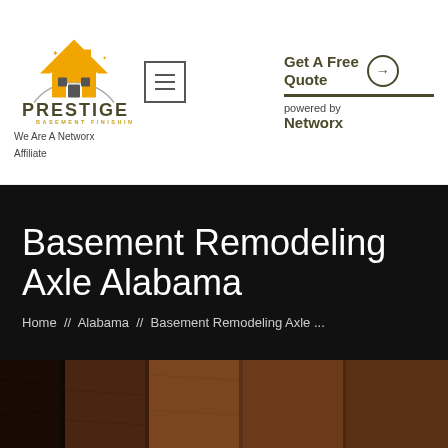[Figure (logo): Prestige Basement Finishing logo with house icon and circular arc, orange and dark olive color scheme. Taglines: BASEMENT FINISHING, We Are A Networx Affiliate]
Get A Free Quote
powered by Networx
Basement Remodeling Axle Alabama
Home  //  Alabama  //  Basement Remodeling Axle ...
[Figure (photo): Partial view of a wooden interior basement remodeling photo, dark brown tones]